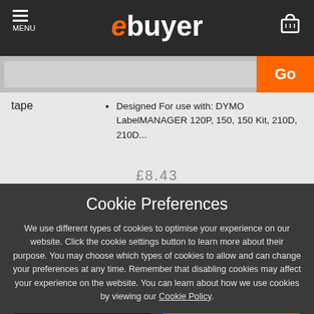ebuyer — MENU / navigation header with search bar
tape
Designed For use with: DYMO LabelMANAGER 120P, 150, 150 Kit, 210D, 210D...
Cookie Preferences
We use different types of cookies to optimise your experience on our website. Click the cookie settings button to learn more about their purpose. You may choose which types of cookies to allow and can change your preferences at any time. Remember that disabling cookies may affect your experience on the website. You can learn about how we use cookies by viewing our Cookie Policy.
Amend Your Preference | Accept All Cookies